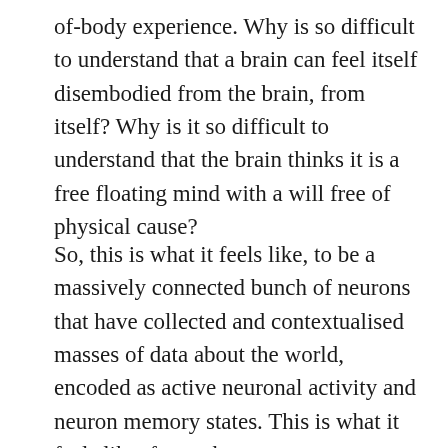of-body experience. Why is so difficult to understand that a brain can feel itself disembodied from the brain, from itself? Why is it so difficult to understand that the brain thinks it is a free floating mind with a will free of physical cause?
So, this is what it feels like, to be a massively connected bunch of neurons that have collected and contextualised masses of data about the world, encoded as active neuronal activity and neuron memory states. This is what it feels like, for such a system to process data about itself, to ‘observe’ itself. It cannot ‘observe’ itself visually or with any other senses. This thinking business, this is